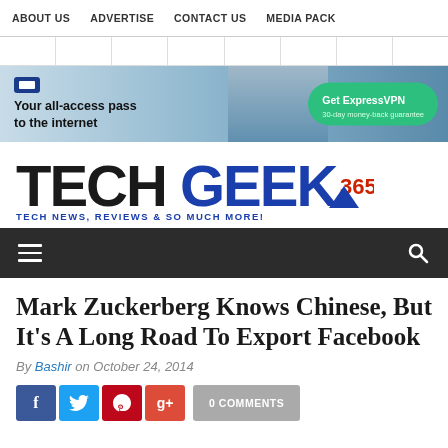ABOUT US   ADVERTISE   CONTACT US   MEDIA PACK
[Figure (infographic): ExpressVPN advertisement banner: 'Your all-access pass to the internet' with Get ExpressVPN button and 30-day money-back guarantee]
[Figure (logo): TechGeek365 logo - TECH in black, GEEK in blue, 365 in red. Tagline: TECH NEWS, REVIEWS & SO MUCH MORE!]
Mark Zuckerberg Knows Chinese, But It's A Long Road To Export Facebook
By Bashir on October 24, 2014
0 COMMENTS